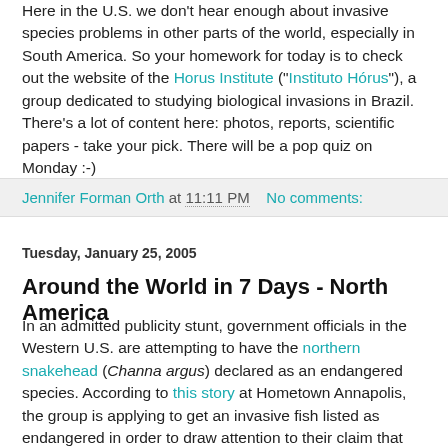Here in the U.S. we don't hear enough about invasive species problems in other parts of the world, especially in South America. So your homework for today is to check out the website of the Horus Institute ("Instituto Hórus"), a group dedicated to studying biological invasions in Brazil. There's a lot of content here: photos, reports, scientific papers - take your pick. There will be a pop quiz on Monday :-)
Jennifer Forman Orth at 11:11 PM    No comments:
Tuesday, January 25, 2005
Around the World in 7 Days - North America
In an admitted publicity stunt, government officials in the Western U.S. are attempting to have the northern snakehead (Channa argus) declared as an endangered species. According to this story at Hometown Annapolis, the group is applying to get an invasive fish listed as endangered in order to draw attention to their claim that the Endangered Species Act infringes on the rights of private property owners. Hope the U.S. Fish and Wildlife Service doesn't waste too much...